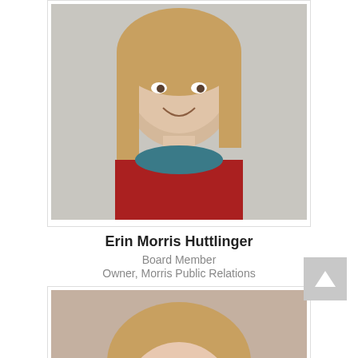[Figure (photo): Headshot of Erin Morris Huttlinger, a woman with long blonde hair wearing a red top and teal scarf, smiling]
Erin Morris Huttlinger
Board Member
Owner, Morris Public Relations
[Figure (photo): Headshot of Lynn Turner, a woman with short blonde-brown hair wearing a pink top, smiling]
Lynn Turner
Board Member
Marketing Committee
Senior Project Manager, Schneider Electric